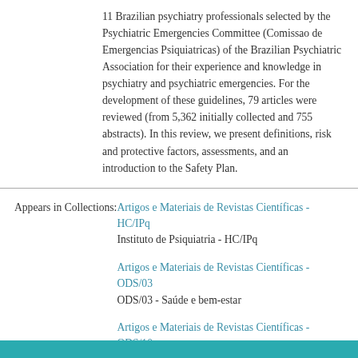11 Brazilian psychiatry professionals selected by the Psychiatric Emergencies Committee (Comissao de Emergencias Psiquiatricas) of the Brazilian Psychiatric Association for their experience and knowledge in psychiatry and psychiatric emergencies. For the development of these guidelines, 79 articles were reviewed (from 5,362 initially collected and 755 abstracts). In this review, we present definitions, risk and protective factors, assessments, and an introduction to the Safety Plan.
Appears in Collections: Artigos e Materiais de Revistas Científicas - HC/IPq | Instituto de Psiquiatria - HC/IPq | Artigos e Materiais de Revistas Científicas - ODS/03 | ODS/03 - Saúde e bem-estar | Artigos e Materiais de Revistas Científicas - ODS/10 | ODS/10 - Redução da desigualdade